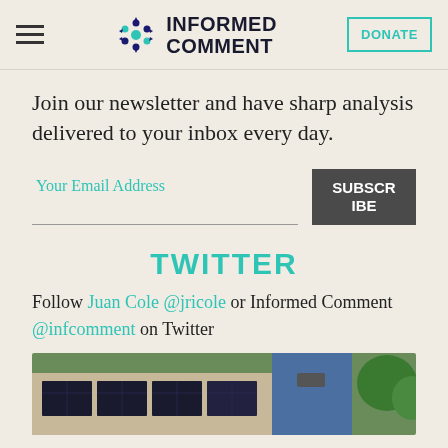INFORMED COMMENT | DONATE
Join our newsletter and have sharp analysis delivered to your inbox every day.
Your Email Address  SUBSCRIBE
TWITTER
Follow Juan Cole @jricole or Informed Comment @infcomment on Twitter
[Figure (photo): Aerial view of solar panels on a rooftop with green trees nearby]